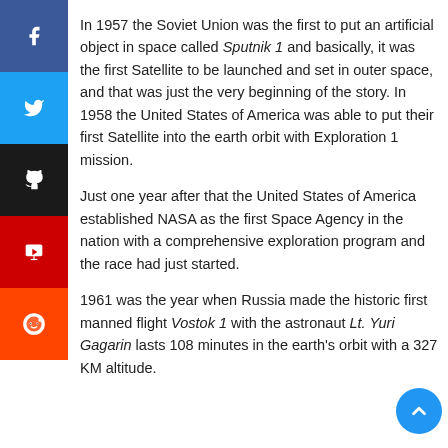In 1957 the Soviet Union was the first to put an artificial object in space called Sputnik 1 and basically, it was the first Satellite to be launched and set in outer space, and that was just the very beginning of the story. In 1958 the United States of America was able to put their first Satellite into the earth orbit with Exploration 1 mission.
Just one year after that the United States of America established NASA as the first Space Agency in the nation with a comprehensive exploration program and the race had just started.
1961 was the year when Russia made the historic first manned flight Vostok 1 with the astronaut Lt. Yuri Gagarin lasts 108 minutes in the earth's orbit with a 327 KM altitude.